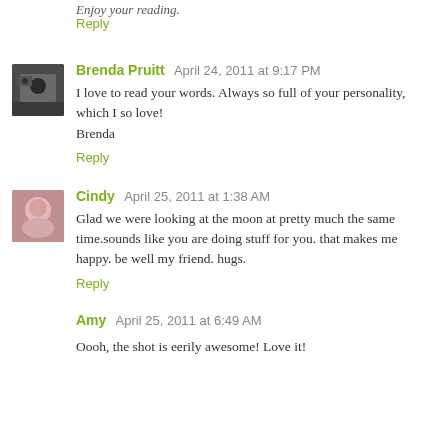Enjoy your reading.
Reply
Brenda Pruitt  April 24, 2011 at 9:17 PM
I love to read your words. Always so full of your personality, which I so love!
Brenda
Reply
Cindy  April 25, 2011 at 1:38 AM
Glad we were looking at the moon at pretty much the same time.sounds like you are doing stuff for you. that makes me happy. be well my friend. hugs.
Reply
Amy  April 25, 2011 at 6:49 AM
Oooh, the shot is eerily awesome! Love it!